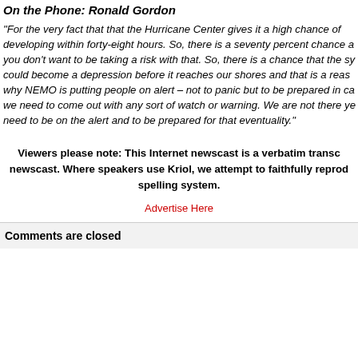On the Phone: Ronald Gordon
“For the very fact that that the Hurricane Center gives it a high chance of developing within forty-eight hours. So, there is a seventy percent chance a you don’t want to be taking a risk with that. So, there is a chance that the sy could become a depression before it reaches our shores and that is a reas why NEMO is putting people on alert – not to panic but to be prepared in ca we need to come out with any sort of watch or warning. We are not there ye need to be on the alert and to be prepared for that eventuality.”
Viewers please note: This Internet newscast is a verbatim transc newscast. Where speakers use Kriol, we attempt to faithfully reprod spelling system.
Advertise Here
Comments are closed